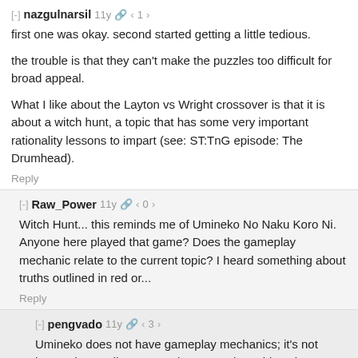[-] nazgulnarsil 11y 🔗 < 1 >
first one was okay. second started getting a little tedious.

the trouble is that they can't make the puzzles too difficult for broad appeal.

What I like about the Layton vs Wright crossover is that it is about a witch hunt, a topic that has some very important rationality lessons to impart (see: ST:TnG episode: The Drumhead).
Reply
[-] Raw_Power 11y 🔗 < 0 >
Witch Hunt... this reminds me of Umineko No Naku Koro Ni. Anyone here played that game? Does the gameplay mechanic relate to the current topic? I heard something about truths outlined in red or...
Reply
[-] pengvado 11y 🔗 < 3 >
Umineko does not have gameplay mechanics; it's not interactive at all. It's a good story, and provides plenty